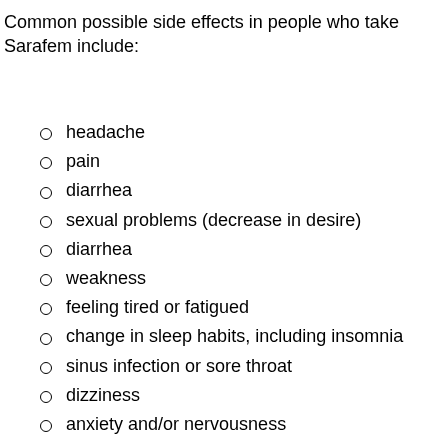Common possible side effects in people who take Sarafem include:
headache
pain
diarrhea
sexual problems (decrease in desire)
diarrhea
weakness
feeling tired or fatigued
change in sleep habits, including insomnia
sinus infection or sore throat
dizziness
anxiety and/or nervousness